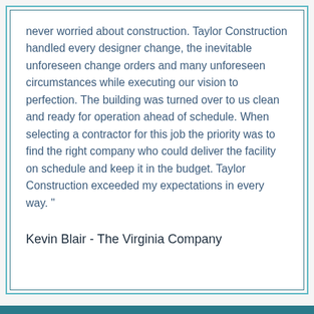never worried about construction. Taylor Construction handled every designer change, the inevitable unforeseen change orders and many unforeseen circumstances while executing our vision to perfection. The building was turned over to us clean and ready for operation ahead of schedule. When selecting a contractor for this job the priority was to find the right company who could deliver the facility on schedule and keep it in the budget. Taylor Construction exceeded my expectations in every way. "
Kevin Blair - The Virginia Company